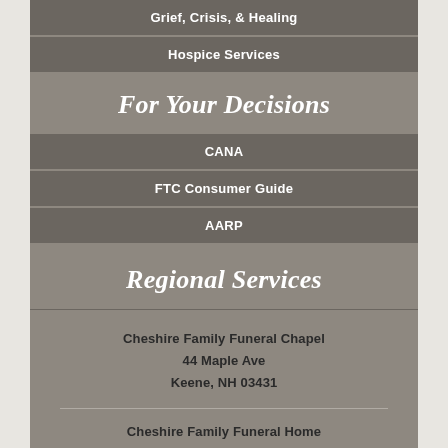Grief, Crisis, & Healing
Hospice Services
For Your Decisions
CANA
FTC Consumer Guide
AARP
Regional Services
Keene Sentinel
Brattleboro Reformer
Cheshire Family Crematory
Holiday Inn Express – Keene
Cheshire Family Funeral Chapel
44 Maple Ave
Keene, NH 03431
Cheshire Family Funeral Home
46 South Winchester St.